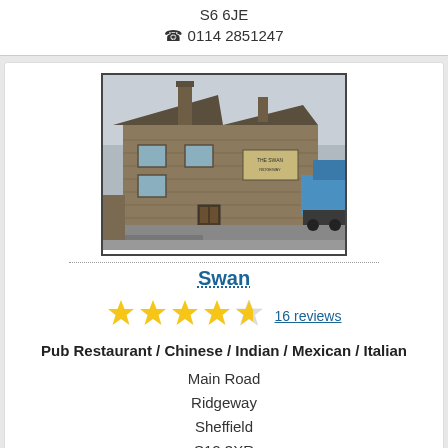S6 6JE
☎ 0114 2851247
[Figure (photo): Exterior photo of a stone-built pub building called The Swan, with a road in front and a blue van partially visible on the right.]
Swan
16 reviews
Pub Restaurant / Chinese / Indian / Mexican / Italian
Main Road
Ridgeway
Sheffield
S12 3XR
☎ 0114 2485596